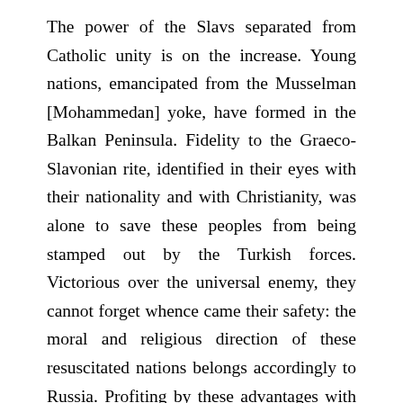The power of the Slavs separated from Catholic unity is on the increase. Young nations, emancipated from the Musselman [Mohammedan] yoke, have formed in the Balkan Peninsula. Fidelity to the Graeco-Slavonian rite, identified in their eyes with their nationality and with Christianity, was alone to save these peoples from being stamped out by the Turkish forces. Victorious over the universal enemy, they cannot forget whence came their safety: the moral and religious direction of these resuscitated nations belongs accordingly to Russia. Profiting by these advantages with consummate skill and energy, she continues to develop her influence in the East. In Asia her progress is still more prodigious. The Tsar, who, at the